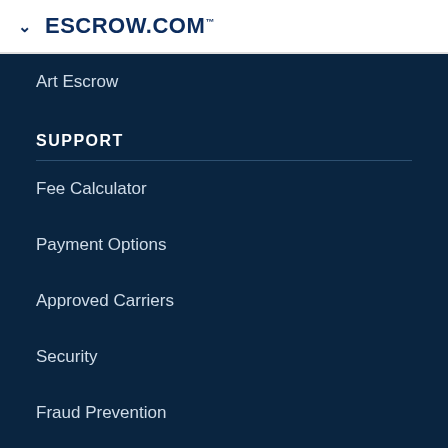ESCROW.COM
Art Escrow
SUPPORT
Fee Calculator
Payment Options
Approved Carriers
Security
Fraud Prevention
Common Questions